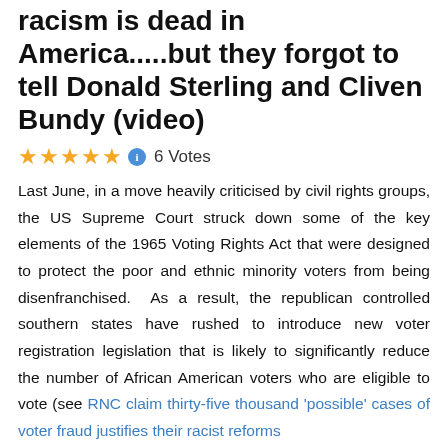racism is dead in America.....but they forgot to tell Donald Sterling and Cliven Bundy (video)
★★★★★ ℹ 6 Votes
Last June, in a move heavily criticised by civil rights groups, the US Supreme Court struck down some of the key elements of the 1965 Voting Rights Act that were designed to protect the poor and ethnic minority voters from being disenfranchised.  As a result, the republican controlled southern states have rushed to introduce new voter registration legislation that is likely to significantly reduce the number of African American voters who are eligible to vote (see RNC claim thirty-five thousand 'possible' cases of voter fraud justifies their racist reforms